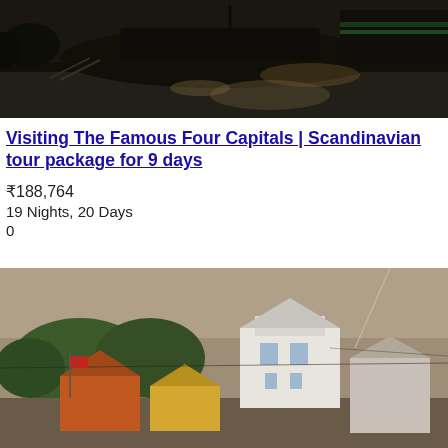[Figure (photo): Night-time harbor scene with large ship moored at dock, sepia/dark tones]
Visiting The Famous Four Capitals | Scandinavian tour package for 9 days
₹188,764
19 Nights, 20 Days
0
[Figure (photo): Scandinavian town with colorful houses, white building, trees, and overcast dramatic sky]